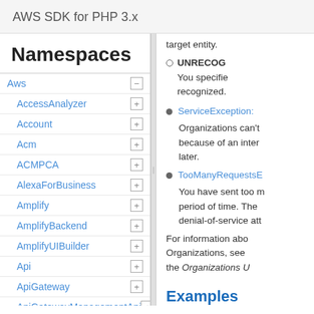AWS SDK for PHP 3.x
Namespaces
Aws
AccessAnalyzer
Account
Acm
ACMPCA
AlexaForBusiness
Amplify
AmplifyBackend
AmplifyUIBuilder
Api
ApiGateway
ApiGatewayManagementApi
target entity.
UNRECOGNIZED You specified a value that isn't recognized.
ServiceException: Organizations can't complete this action because of an internal error. Try again later.
TooManyRequestsE You have sent too many requests in a given period of time. The denial-of-service att
For information about Organizations, see the Organizations U
Examples